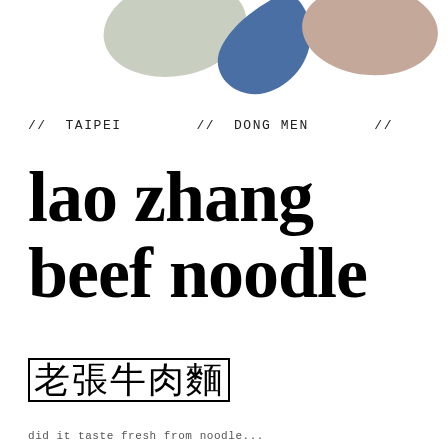[Figure (illustration): Three abstract organic blob shapes at the top: a sage green shape on the left, a steel blue teardrop shape in the center, and a dusty rose/mauve shape on the right]
// TAIPEI        // DONG MEN        //
lao zhang beef noodle
老張牛肉麵
did it taste fresh from noodle...